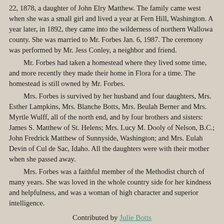22, 1878, a daughter of John Elry Matthew. The family came west when she was a small girl and lived a year at Fern Hill, Washington. A year later, in 1892, they came into the wilderness of northern Wallowa county. She was married to Mr. Forbes Jan. 6, 1987. The ceremony was performed by Mr. Jess Conley, a neighbor and friend.
Mr. Forbes had taken a homestead where they lived some time, and more recently they made their home in Flora for a time. The homestead is still owned by Mr. Forbes.
Mrs. Forbes is survived by her husband and four daughters, Mrs. Esther Lampkins, Mrs. Blanche Botts, Mrs. Beulah Berner and Mrs. Myrtle Wulff, all of the north end, and by four brothers and sisters: James S. Matthew of St. Helens; Mrs. Lucy M. Dooly of Nelson, B.C.; John Fredrick Matthew of Sunnyside, Washington; and Mrs. Eulah Devin of Cul de Sac, Idaho. All the daughters were with their mother when she passed away.
Mrs. Forbes was a faithful member of the Methodist church of many years. She was loved in the whole country side for her kindness and helpfulness, and was a woman of high character and superior intelligence.
Contributed by Julie Botts
Susan D Forbes